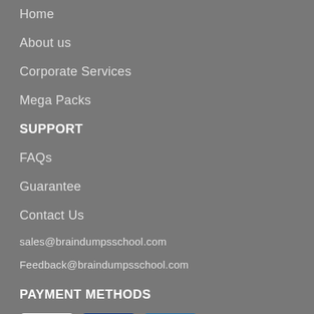Home
About us
Corporate Services
Mega Packs
SUPPORT
FAQs
Guarantee
Contact Us
sales@braindumpsschool.com
Feedback@braindumpsschool.com
PAYMENT METHODS
[Figure (logo): VISA, Maestro, and MasterCard payment method logos]